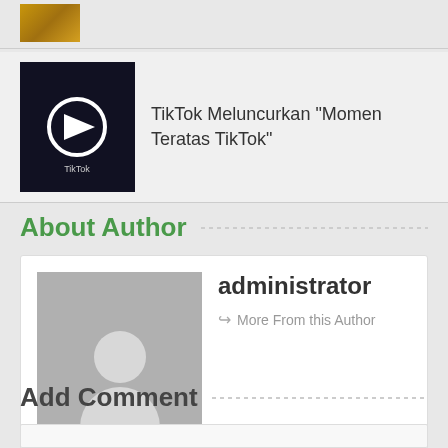[Figure (photo): Small thumbnail image with yellow/orange tones at top of page]
[Figure (photo): TikTok app logo on dark background smartphone screen]
TikTok Meluncurkan “Momen Teratas TikTok”
About Author
[Figure (photo): Default user avatar placeholder image - grey background with white silhouette person figure]
administrator
More From this Author
Add Comment